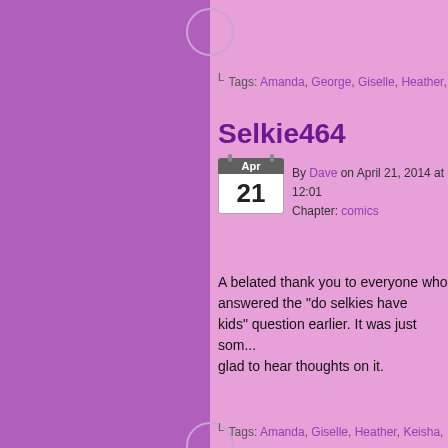Tags: Amanda, George, Giselle, Heather...
Selkie464
By Dave on April 21, 2014 at 12:01 Chapter: comics
A belated thank you to everyone who answered the "do selkies have kids" question earlier. It was just something I was thinking about, and I was glad to hear thoughts on it.
Tags: Amanda, Giselle, Heather, Keisha...
Selkie463
By Dave on April 17, 2014 at 11:38 Chapter: comics